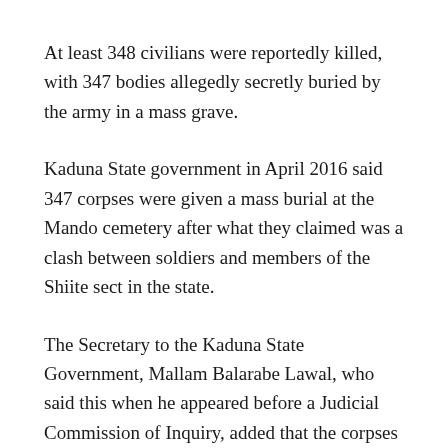At least 348 civilians were reportedly killed, with 347 bodies allegedly secretly buried by the army in a mass grave.
Kaduna State government in April 2016 said 347 corpses were given a mass burial at the Mando cemetery after what they claimed was a clash between soldiers and members of the Shiite sect in the state.
The Secretary to the Kaduna State Government, Mallam Balarabe Lawal, who said this when he appeared before a Judicial Commission of Inquiry, added that the corpses were given a mass burial in a grave on December 14, 2015, in a cemetery along Mando/ Zaria Road.
According to the SSG, a total of 191 unknown corpses